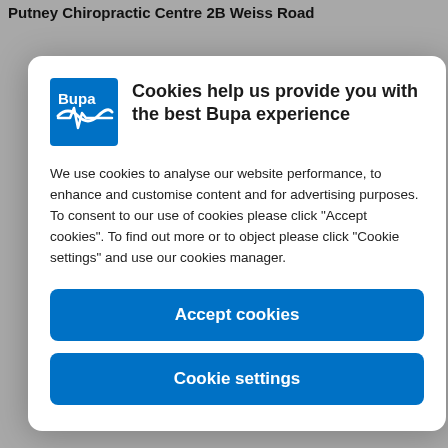Putney Chiropractic Centre 2B Weiss Road
[Figure (screenshot): Bupa cookie consent modal dialog with Bupa logo, title 'Cookies help us provide you with the best Bupa experience', body text about cookie usage, and two buttons: 'Accept cookies' and 'Cookie settings']
We use cookies to analyse our website performance, to enhance and customise content and for advertising purposes. To consent to our use of cookies please click "Accept cookies". To find out more or to object please click "Cookie settings" and use our cookies manager.
Accept cookies
Cookie settings